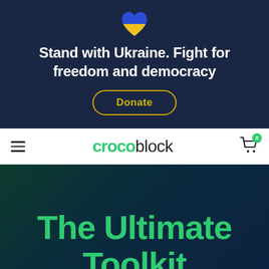[Figure (screenshot): Ukraine solidarity banner with blue and yellow heart icon, white text 'Stand with Ukraine. Fight for freedom and democracy', and a 'Donate' button with gold border on dark navy background]
crocoblock navigation bar with hamburger menu and cart icon showing 0 items
The Ultimate Toolkit